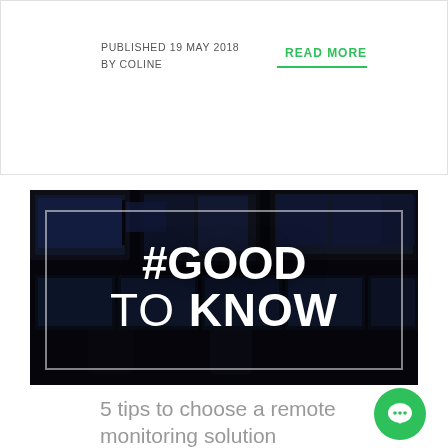PUBLISHED 19 MAY 2018
BY COLINE
READ MORE
[Figure (photo): Control room with multiple monitors and operators, overlaid with large white text reading #GOOD TO KNOW]
5 tips to choose a remote monitoring solution